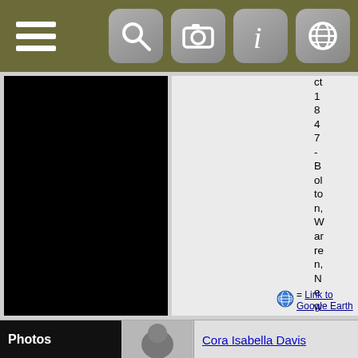Navigation toolbar with hamburger menu and icons for search, camera, info, and globe
[Figure (screenshot): Black panel on left side, white/light gray content panel in center, vertical text on right reading 'ct 1847 - Bolton, Warren, New York, USA']
ct 1847 - Bolton, Warren, New York, USA
= Link to Google Earth
Photos
Cora Isabella Davis